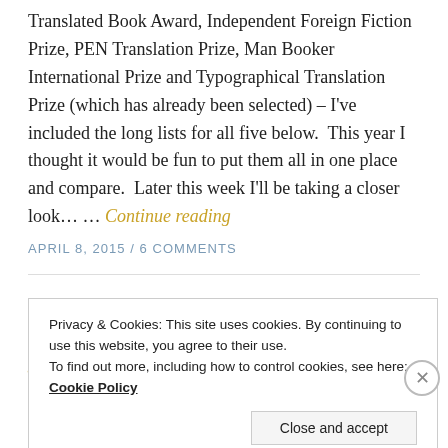Translated Book Award, Independent Foreign Fiction Prize, PEN Translation Prize, Man Booker International Prize and Typographical Translation Prize (which has already been selected) – I've included the long lists for all five below.  This year I thought it would be fun to put them all in one place and compare.  Later this week I'll be taking a closer look… … Continue reading
APRIL 8, 2015 / 6 COMMENTS
FICTION, LITERARY AWARDS, TRANSLATION
IFFP & BTBA 2013 Short Lists –
Privacy & Cookies: This site uses cookies. By continuing to use this website, you agree to their use.
To find out more, including how to control cookies, see here: Cookie Policy
Close and accept